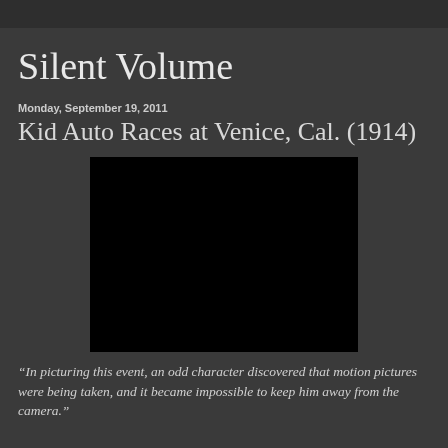Silent Volume
Monday, September 19, 2011
Kid Auto Races at Venice, Cal. (1914)
[Figure (screenshot): A black video player embed showing a dark/black screen, embedded video content for the 1914 silent film Kid Auto Races at Venice, Cal.]
“In picturing this event, an odd character discovered that motion pictures were being taken, and it became impossible to keep him away from the camera.”